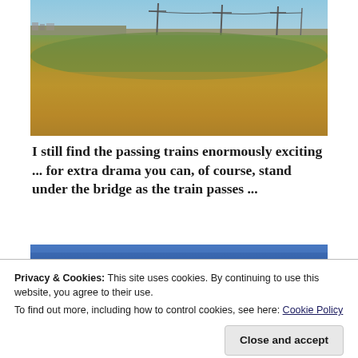[Figure (photo): A photograph of a railway line embankment with dry golden grass in the foreground, green grass on the slope, telegraph/electricity poles visible along the track, and a blue sky with light clouds in the background. Buildings are faintly visible on the far left horizon.]
I still find the passing trains enormously exciting ... for extra drama you can, of course, stand under the bridge as the train passes ...
[Figure (photo): Partially visible photograph showing a bright blue sky, appearing to be another railway-related outdoor photograph.]
Privacy & Cookies: This site uses cookies. By continuing to use this website, you agree to their use.
To find out more, including how to control cookies, see here: Cookie Policy
Close and accept
[Figure (photo): Bottom sliver of another outdoor photograph, partially cropped.]